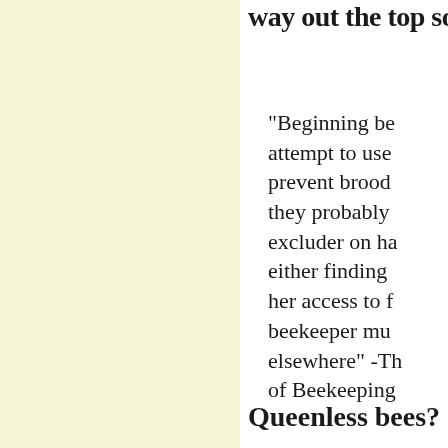way out the top so
"Beginning beekeepers attempt to use a queen excluder to prevent brood in the supers; they probably don't have the excluder on hand in time, either finding the queen or her access to frames, so the beekeeper must look elsewhere" -The Practical Art of Beekeeping
Queenless bees?